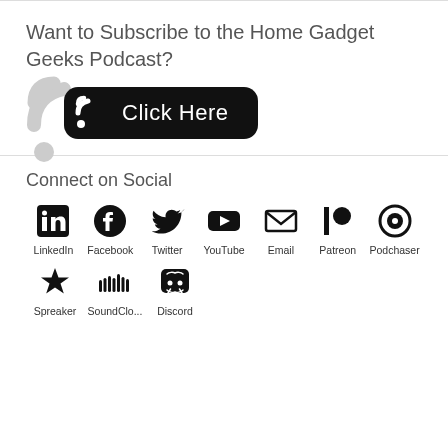Want to Subscribe to the Home Gadget Geeks Podcast?
[Figure (other): RSS feed subscribe button with RSS icon and 'Click Here' text on black rounded rectangle background]
Connect on Social
[Figure (infographic): Social media icons row: LinkedIn, Facebook, Twitter, YouTube, Email, Patreon, Podchaser]
[Figure (infographic): Social media icons second row: Spreaker, SoundCloud, Discord]